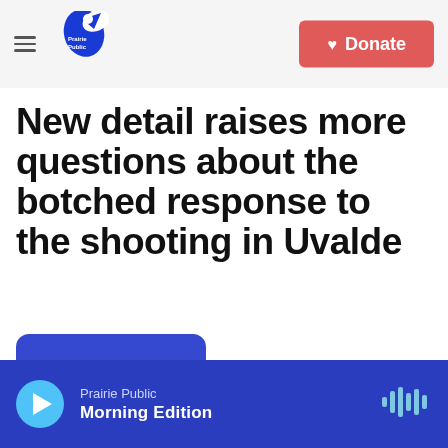Prairie Public | Donate
New detail raises more questions about the botched response to the shooting in Uvalde
By Adrian Florido
Published June 2, 2022 at 3:33 PM CDT
Prairie Public Morning Edition